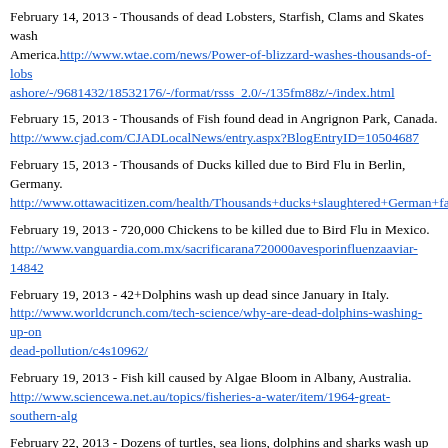February 14, 2013 - Thousands of dead Lobsters, Starfish, Clams and Skates wash up in America. http://www.wtae.com/news/Power-of-blizzard-washes-thousands-of-lobsters-ashore/-/9681432/18532176/-/format/rsss_2.0/-/135fm88z/-/index.html
February 15, 2013 - Thousands of Fish found dead in Angrignon Park, Canada. http://www.cjad.com/CJADLocalNews/entry.aspx?BlogEntryID=10504687
February 15, 2013 - Thousands of Ducks killed due to Bird Flu in Berlin, Germany. http://www.ottawacitizen.com/health/Thousands+ducks+slaughtered+German+far...
February 19, 2013 - 720,000 Chickens to be killed due to Bird Flu in Mexico. http://www.vanguardia.com.mx/sacrificarana720000avesporinfluenzaaviar-148422...
February 19, 2013 - 42+Dolphins wash up dead since January in Italy. http://www.worldcrunch.com/tech-science/why-are-dead-dolphins-washing-up-on... dead-pollution/c4s10962/
February 19, 2013 - Fish kill caused by Algae Bloom in Albany, Australia. http://www.sciencewa.net.au/topics/fisheries-a-water/item/1964-great-southern-alg...
February 22, 2013 - Dozens of turtles, sea lions, dolphins and sharks wash up dead... v=A3xMdvPL3CM
February 24, 2013 - Thousandsof Fish found dead in Cuyahoga River, Ohio, America. http://www.cleveland.com/metro/index.ssf/2013/02/thousands_of_fish_found_dea...
February 24, 2013 - Thousands of Ducks die suddenly in Situbondo, Indonesia. ht... blo...5&id17&...